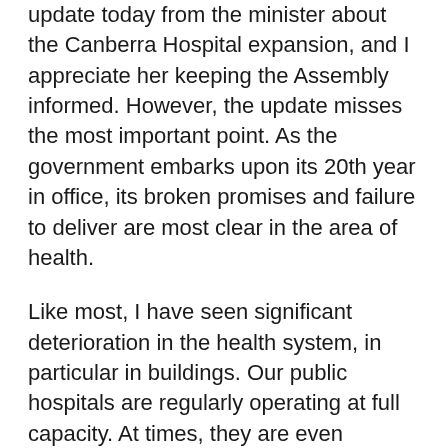update today from the minister about the Canberra Hospital expansion, and I appreciate her keeping the Assembly informed. However, the update misses the most important point. As the government embarks upon its 20th year in office, its broken promises and failure to deliver are most clear in the area of health.
Like most, I have seen significant deterioration in the health system, in particular in buildings. Our public hospitals are regularly operating at full capacity. At times, they are even overflowing, leaving some patients in beds in hospital corridors. Wait times for emergency department treatment and elective surgery are some of the longest in the country and have been for years.
Labor has been talking about the expansion of Canberra Hospital for over a decade and still has not delivered. In 2008, Katy Gallagher identified that we were facing a tsunami in health. In 2010, she promised a rebuild of the